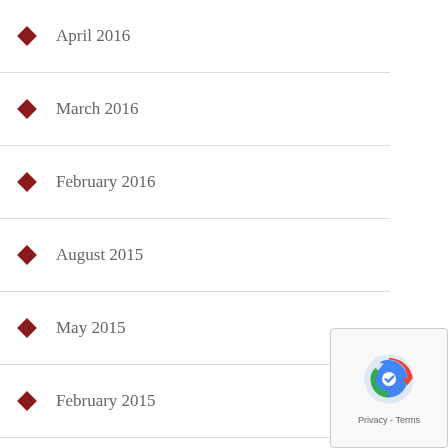April 2016
March 2016
February 2016
August 2015
May 2015
February 2015
January 2015
December 2014
November 2014
October 2014